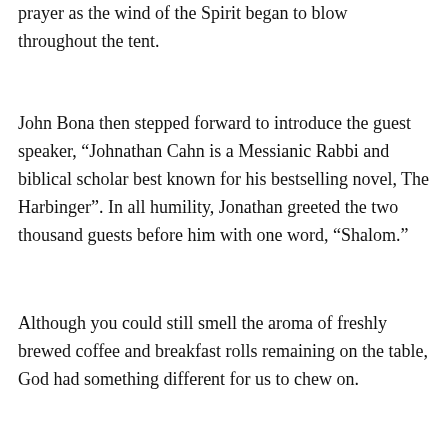prayer as the wind of the Spirit began to blow throughout the tent.
John Bona then stepped forward to introduce the guest speaker, “Johnathan Cahn is a Messianic Rabbi and biblical scholar best known for his bestselling novel, The Harbinger”. In all humility, Jonathan greeted the two thousand guests before him with one word, “Shalom.”
Although you could still smell the aroma of freshly brewed coffee and breakfast rolls remaining on the table, God had something different for us to chew on.